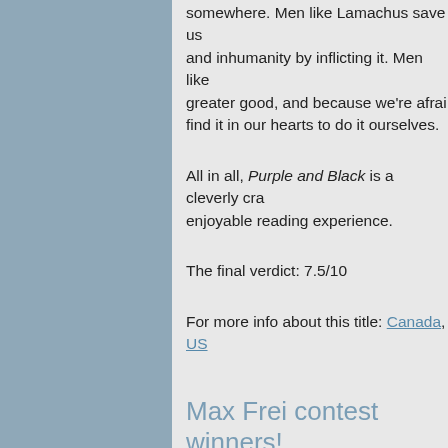somewhere. Men like Lamachus save us from pain and inhumanity by inflicting it. Men like him serve the greater good, and because we're afraid, we can't find it in our hearts to do it ourselves.
All in all, Purple and Black is a cleverly crafted, enjoyable reading experience.
The final verdict: 7.5/10
For more info about this title: Canada, USA
Max Frei contest winners!
Publié par Patrick / Comments: (3)
Thanks to the kind folks at The Overlook Press, will get their hands on Max Frei's The Stra... about this title: Canada, USA, Europe.